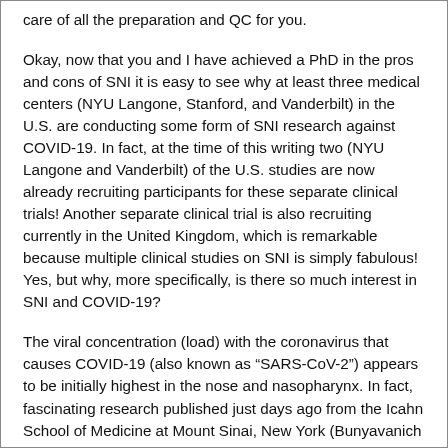care of all the preparation and QC for you.
Okay, now that you and I have achieved a PhD in the pros and cons of SNI it is easy to see why at least three medical centers (NYU Langone, Stanford, and Vanderbilt) in the U.S. are conducting some form of SNI research against COVID-19. In fact, at the time of this writing two (NYU Langone and Vanderbilt) of the U.S. studies are now already recruiting participants for these separate clinical trials! Another separate clinical trial is also recruiting currently in the United Kingdom, which is remarkable because multiple clinical studies on SNI is simply fabulous! Yes, but why, more specifically, is there so much interest in SNI and COVID-19?
The viral concentration (load) with the coronavirus that causes COVID-19 (also known as “SARS-CoV-2”) appears to be initially highest in the nose and nasopharynx. In fact, fascinating research published just days ago from the Icahn School of Medicine at Mount Sinai, New York (Bunyavanich S, et. al. JAMA 2020; doi: 10.1001/jama.2020.8707) preliminarily found LOWER levels of the specific receptors in the